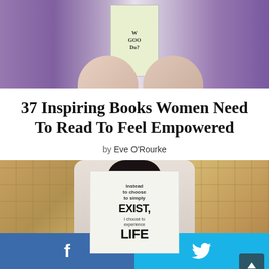[Figure (photo): Top photo showing hands holding a book with brain-shaped objects on either side]
37 Inspiring Books Women Need To Read To Feel Empowered
by Eve O'Rourke
[Figure (photo): Woman holding open book in front of her face with text reading 'Instead of choosing to simply exist, I choose to experience life', background of stacked book pages]
Facebook share button and Twitter share button